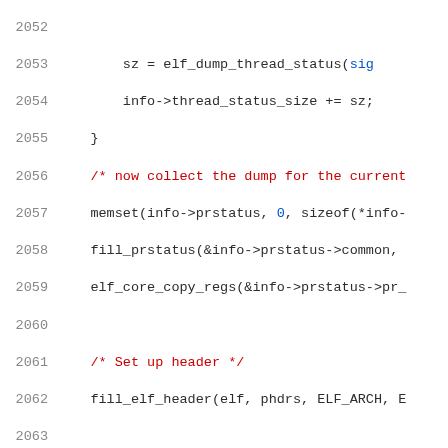[Figure (screenshot): Source code listing showing C code lines 2052-2073, with line numbers in gray on the left and syntax-highlighted code on the right. Comments are in red, numeric literals and string literals in blue/green/orange, and identifiers in dark color.]